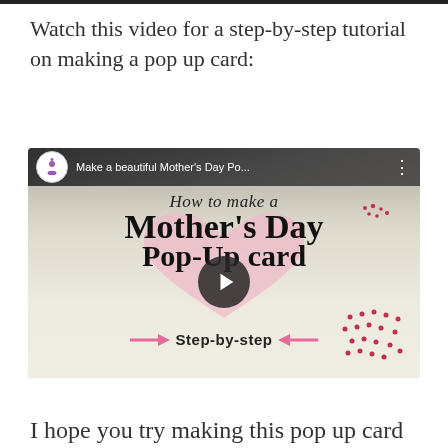Watch this video for a step-by-step tutorial on making a pop up card:
[Figure (screenshot): YouTube video thumbnail showing 'Make a beautiful Mother's Day Po...' with title 'How to make a Mother's Day Pop-Up card Step-by-step' with play button overlay]
I hope you try making this pop up card